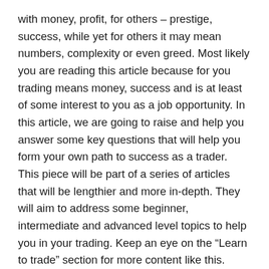with money, profit, for others – prestige, success, while yet for others it may mean numbers, complexity or even greed. Most likely you are reading this article because for you trading means money, success and is at least of some interest to you as a job opportunity. In this article, we are going to raise and help you answer some key questions that will help you form your own path to success as a trader. This piece will be part of a series of articles that will be lengthier and more in-depth. They will aim to address some beginner, intermediate and advanced level topics to help you in your trading. Keep an eye on the “Learn to trade” section for more content like this.
I have split this article into 10 parts, the first 6 each starting with a question, and ending with a discussion/answer. The last 4 will be more practical and give you tips on what you need to do to get started. We will be touching upon topics such as “is trading really for you?”, your mindset, interests, and what you